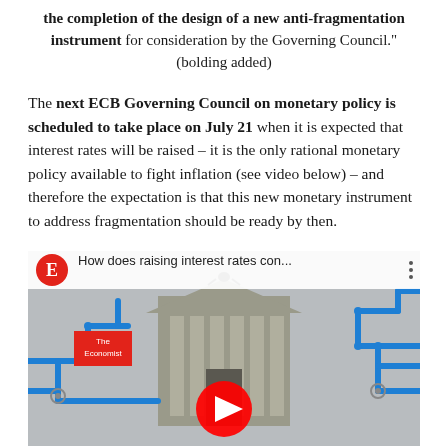the completion of the design of a new anti-fragmentation instrument for consideration by the Governing Council." (bolding added)
The next ECB Governing Council on monetary policy is scheduled to take place on July 21 when it is expected that interest rates will be raised – it is the only rational monetary policy available to fight inflation (see video below) – and therefore the expectation is that this new monetary instrument to address fragmentation should be ready by then.
[Figure (screenshot): YouTube video thumbnail from The Economist showing a Federal Reserve building with blue pipes network overlay, titled 'How does raising interest rates con...' with a red play button.]